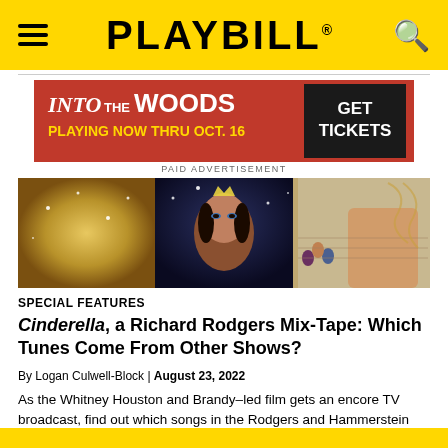PLAYBILL
[Figure (infographic): Into the Woods advertisement banner: red background with white/yellow text reading 'INTO THE WOODS PLAYING NOW THRU OCT. 16' and a black GET TICKETS button]
PAID ADVERTISEMENT
[Figure (photo): Horizontal banner photo featuring Cinderella movie scenes: a glittering gown on the left, Brandy as Cinderella in the center wearing a tiara, and a ballroom/staircase scene with costumed guests on the right]
SPECIAL FEATURES
Cinderella, a Richard Rodgers Mix-Tape: Which Tunes Come From Other Shows?
By Logan Culwell-Block | August 23, 2022
As the Whitney Houston and Brandy–led film gets an encore TV broadcast, find out which songs in the Rodgers and Hammerstein favorite were written for other projects.